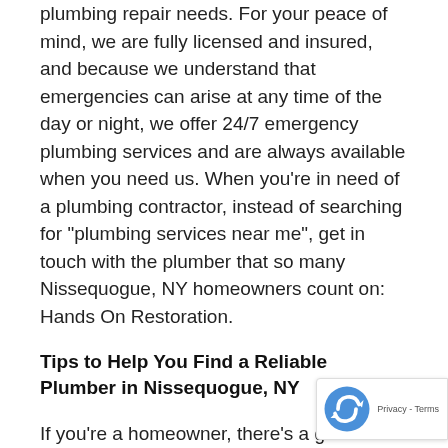plumbing repair needs. For your peace of mind, we are fully licensed and insured, and because we understand that emergencies can arise at any time of the day or night, we offer 24/7 emergency plumbing services and are always available when you need us. When you’re in need of a plumbing contractor, instead of searching for “plumbing services near me”, get in touch with the plumber that so many Nissequogue, NY homeowners count on: Hands On Restoration.
Tips to Help You Find a Reliable Plumber in Nissequogue, NY
If you’re a homeowner, there’s a good chance that you’re going to need plumbing repairs at one point or another. Whether it’s a pipe burst, a clogged drain, low water pressure, an overflowing toilet, or the long list of other issues that can arise with a plumbing system, it’s always a good idea to find a plumbing
[Figure (logo): reCAPTCHA badge with Google logo and Privacy - Terms links]